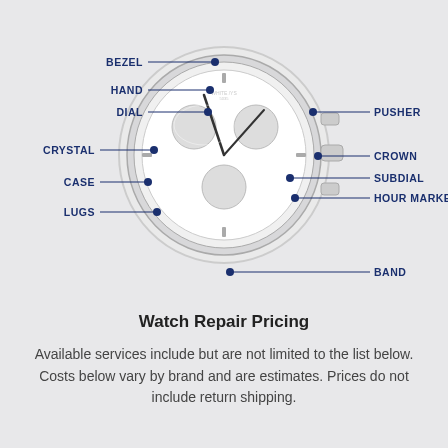[Figure (schematic): Watch anatomy diagram labeling parts: Bezel, Hand, Dial, Crystal, Case, Lugs (left side), Pusher, Crown, Subdial, Hour Marker, Band (right side). Blue annotation lines and dots point to each part of a chronograph watch illustration.]
Watch Repair Pricing
Available services include but are not limited to the list below. Costs below vary by brand and are estimates. Prices do not include return shipping.